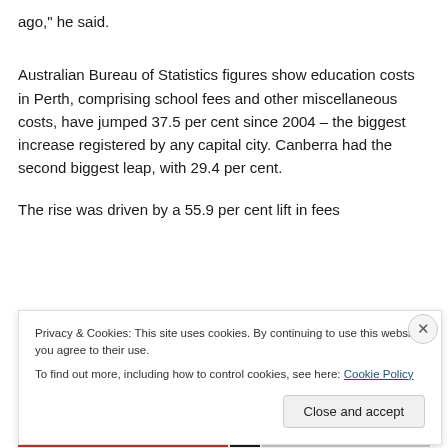ago," he said.
Australian Bureau of Statistics figures show education costs in Perth, comprising school fees and other miscellaneous costs, have jumped 37.5 per cent since 2004 – the biggest increase registered by any capital city. Canberra had the second biggest leap, with 29.4 per cent.
The rise was driven by a 55.9 per cent lift in fees
Privacy & Cookies: This site uses cookies. By continuing to use this website, you agree to their use.
To find out more, including how to control cookies, see here: Cookie Policy